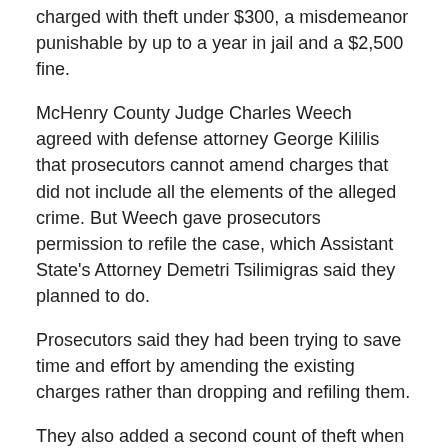charged with theft under $300, a misdemeanor punishable by up to a year in jail and a $2,500 fine.
McHenry County Judge Charles Weech agreed with defense attorney George Kililis that prosecutors cannot amend charges that did not include all the elements of the alleged crime. But Weech gave prosecutors permission to refile the case, which Assistant State's Attorney Demetri Tsilimigras said they planned to do.
Prosecutors said they had been trying to save time and effort by amending the existing charges rather than dropping and refiling them.
They also added a second count of theft when they added language to the first count in July.
Kililis maintained that his client's actions were part of a neighborhood dispute, not a crime.
“I don’t think she has the slightest criminal intent in her body,” Kililis said outside court. “And she didn’t then.”